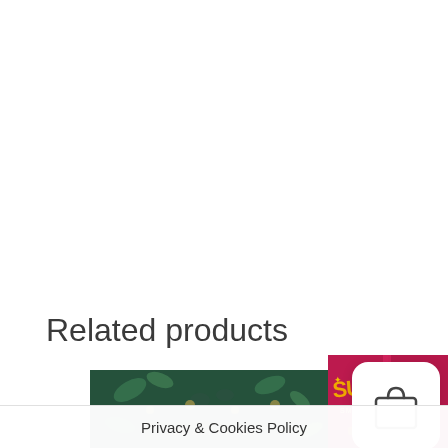Related products
[Figure (photo): Product image: The Art of Tea book with dark green decorative cover featuring birds and botanical illustrations]
[Figure (photo): Pink/magenta coffee or tea bag with yellow 'SUPER' branding and 'SMALL BATCH' text]
[Figure (illustration): Shopping bag icon in a white rounded square card overlay]
Privacy & Cookies Policy